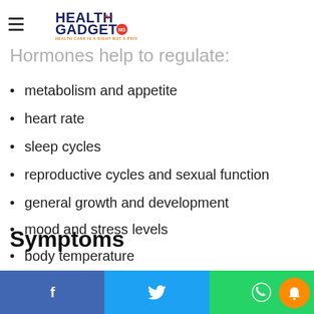Health Gadget NG — Health Care is a Right Not a Privilege
Hormones help to regulate:
metabolism and appetite
heart rate
sleep cycles
reproductive cycles and sexual function
general growth and development
mood and stress levels
body temperature
Symptoms
Facebook | Twitter | WhatsApp